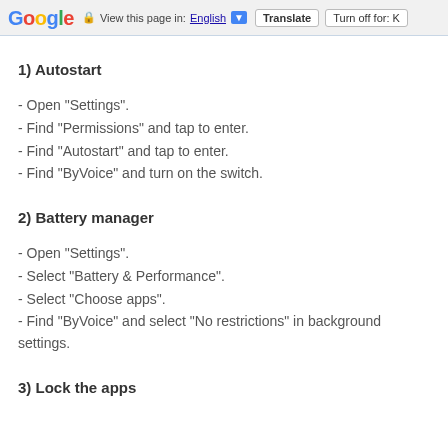Google  View this page in: English [▼]  Translate  Turn off for: K
1) Autostart
- Open "Settings".
- Find "Permissions" and tap to enter.
- Find "Autostart" and tap to enter.
- Find "ByVoice" and turn on the switch.
2) Battery manager
- Open "Settings".
- Select "Battery & Performance".
- Select "Choose apps".
- Find "ByVoice" and select "No restrictions" in background settings.
3) Lock the apps